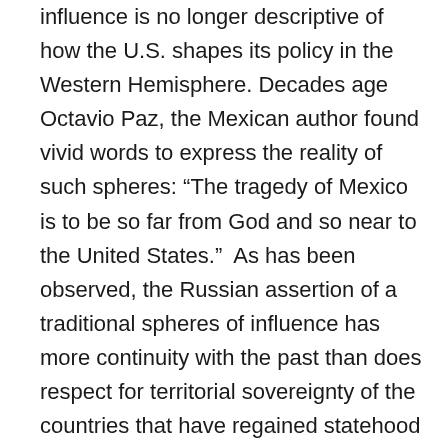influence is no longer descriptive of how the U.S. shapes its policy in the Western Hemisphere. Decades age Octavio Paz, the Mexican author found vivid words to express the reality of such spheres: “The tragedy of Mexico is to be so far from God and so near to the United States.”  As has been observed, the Russian assertion of a traditional spheres of influence has more continuity with the past than does respect for territorial sovereignty of the countries that have regained statehood within such spheres after the Soviet collapse. This recognition is not meant to express approval of such spheres, serving only as a realization of geopolitical practice that has persisted through the whole of modernity and a further sense that mounting a challenge in light of this practice is almost certain to produce friction and heighten risks of major warfare., which in relations among states armed with